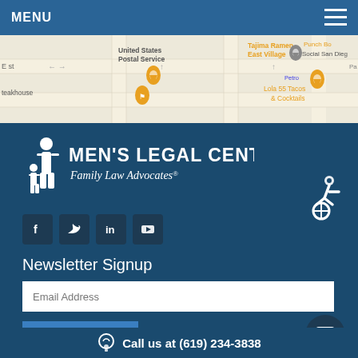MENU
[Figure (map): Google Maps partial screenshot showing United States Postal Service, Tajima Ramen East Village, Punch Bowl Social San Diego, Lola 55 Tacos & Cocktails restaurant markers]
[Figure (logo): Men's Legal Center - Family Law Advocates logo with white figure icon]
[Figure (infographic): Social media icons: Facebook, Twitter, LinkedIn, YouTube]
[Figure (illustration): Accessibility wheelchair icon]
Newsletter Signup
Email Address
SUBSCRIBE
Call us at (619) 234-3838